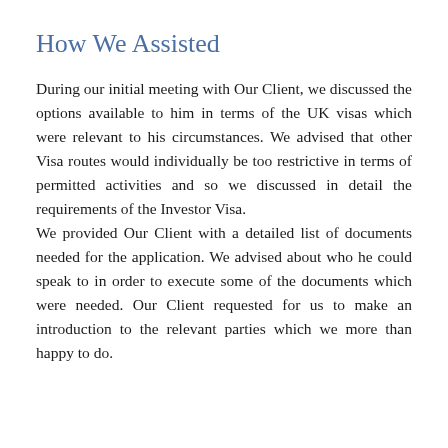How We Assisted
During our initial meeting with Our Client, we discussed the options available to him in terms of the UK visas which were relevant to his circumstances. We advised that other Visa routes would individually be too restrictive in terms of permitted activities and so we discussed in detail the requirements of the Investor Visa.
We provided Our Client with a detailed list of documents needed for the application. We advised about who he could speak to in order to execute some of the documents which were needed. Our Client requested for us to make an introduction to the relevant parties which we more than happy to do.